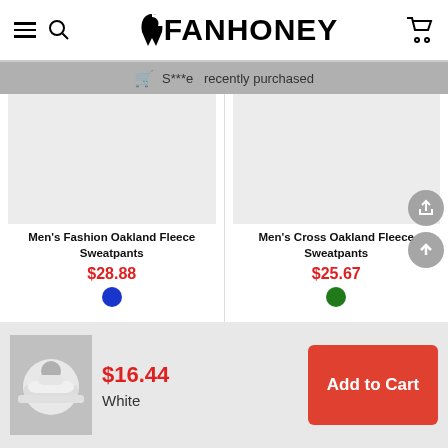FANHONEY
S***e recently purchased
Men's Fashion Oakland Fleece Sweatpants $28.88
Men's Cross Oakland Fleece Sweatpants $25.67
$16.44 White
Add to Cart